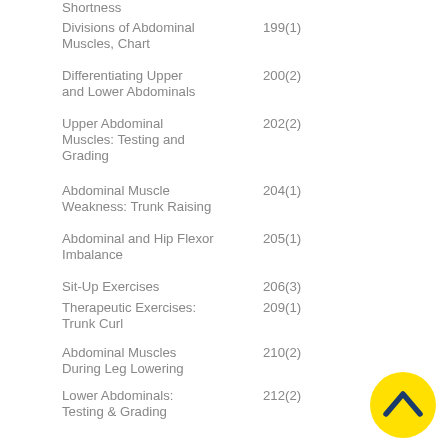Shortness
Divisions of Abdominal Muscles, Chart
Differentiating Upper and Lower Abdominals
Upper Abdominal Muscles: Testing and Grading
Abdominal Muscle Weakness: Trunk Raising
Abdominal and Hip Flexor Imbalance
Sit-Up Exercises
Therapeutic Exercises: Trunk Curl
Abdominal Muscles During Leg Lowering
Lower Abdominals: Testing & Grading
Abdominal Muscle Weakness: Leg Lowering
Therapeutic Exercises: Posterior Pelvic Tilt